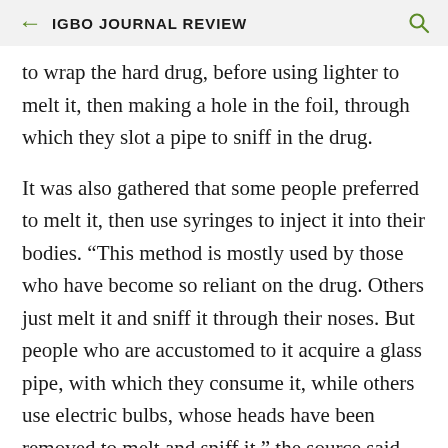IGBO JOURNAL REVIEW
to wrap the hard drug, before using lighter to melt it, then making a hole in the foil, through which they slot a pipe to sniff in the drug.
It was also gathered that some people preferred to melt it, then use syringes to inject it into their bodies. “This method is mostly used by those who have become so reliant on the drug. Others just melt it and sniff it through their noses. But people who are accustomed to it acquire a glass pipe, with which they consume it, while others use electric bulbs, whose heads have been removed to melt and sniff it,” the source said.